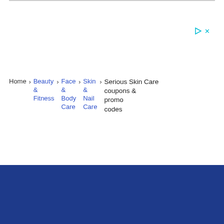[Figure (screenshot): Ad icons: play button and X close button in cyan/teal color]
Home > Beauty & Fitness > Face & Body Care > Skin & Nail Care > Serious Skin Care coupons & promo codes
[Figure (logo): DealDrop logo with parachute icon in white on dark blue background]
Find the best coupons, deals, promo codes...